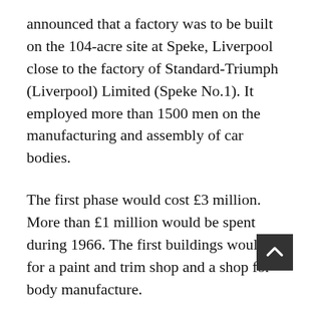announced that a factory was to be built on the 104-acre site at Speke, Liverpool close to the factory of Standard-Triumph (Liverpool) Limited (Speke No.1). It employed more than 1500 men on the manufacturing and assembly of car bodies.
The first phase would cost £3 million. More than £1 million would be spent during 1966. The first buildings would be for a paint and trim shop and a shop for body manufacture.
George Turnbull said: 'This is a most